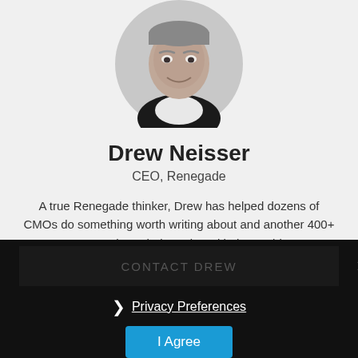[Figure (photo): Black and white circular headshot photo of Drew Neisser, a smiling middle-aged man in a suit]
Drew Neisser
CEO, Renegade
A true Renegade thinker, Drew has helped dozens of CMOs do something worth writing about and another 400+ CMOs share their stories with the world.
More About Drew
CONTACT DREW
Privacy Preferences
I Agree